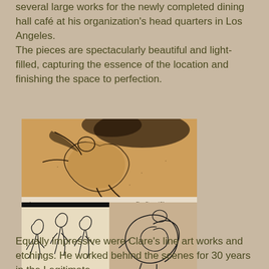several large works for the newly completed dining hall café at his organization's head quarters in Los Angeles.
The pieces are spectacularly beautiful and light-filled, capturing the essence of the location and finishing the space to perfection.
[Figure (photo): Three artworks shown: a large etching/print at top showing a figure in motion with brown tones, and below two smaller works — a line drawing of multiple figures on the left, and a spiral/circular figure drawing on the right.]
Equally impressive were Clare's line art works and etchings. He worked behind the scenes for 30 years in the Legitimate